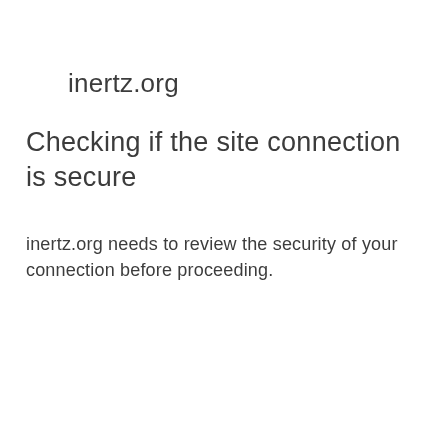inertz.org
Checking if the site connection is secure
inertz.org needs to review the security of your connection before proceeding.